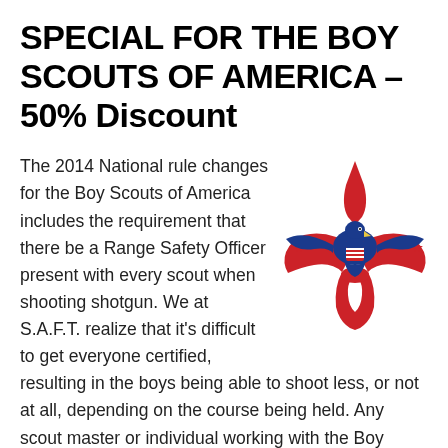SPECIAL FOR THE BOY SCOUTS OF AMERICA – 50% Discount
The 2014 National rule changes for the Boy Scouts of America includes the requirement that there be a Range Safety Officer present with every scout when shooting shotgun. We at S.A.F.T. realize that it's difficult to get everyone certified, resulting in the boys being able to shoot less, or not at all, depending on the course being held. Any scout master or individual working with the Boy Scouts of America that will volunteer their time to these boys
[Figure (logo): Boy Scouts of America fleur-de-lis logo with eagle, red and blue colors]